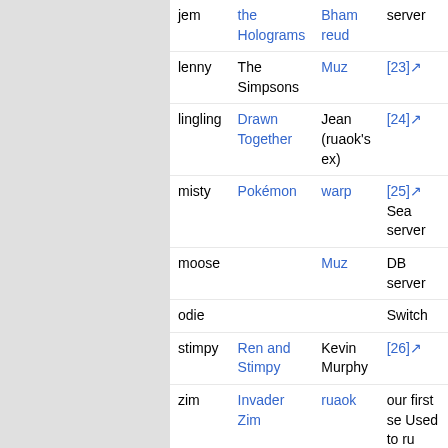| Name | Show | Voice Actor | Notes |
| --- | --- | --- | --- |
| jem | the Holograms | Bham reud | server |
| lenny | The Simpsons | Muz | [23] |
| lingling | Drawn Together | Jean (ruaok's ex) | [24] |
| misty | Pokémon | warp | [25] Sea server |
| moose |  | Muz | DB server |
| odie |  |  | Switch |
| stimpy | Ren and Stimpy | Kevin Murphy | [26] |
| zim | Invader Zim | ruaok | our first se Used to ru musicbrai |
Other named things
| Gear | Named | Taken From | Chosen By |
| --- | --- | --- | --- |
| Backup disks | HUEY, DEWEY, | ... | djce |